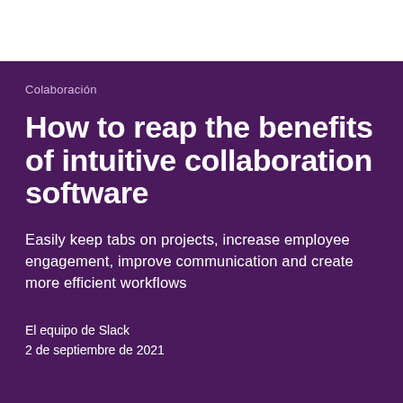Colaboración
How to reap the benefits of intuitive collaboration software
Easily keep tabs on projects, increase employee engagement, improve communication and create more efficient workflows
El equipo de Slack
2 de septiembre de 2021